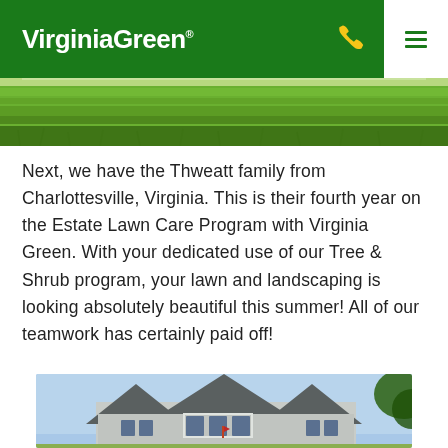VirginiaGreen®
[Figure (photo): Strip of green grass lawn photo at the top of the page content area]
Next, we have the Thweatt family from Charlottesville, Virginia. This is their fourth year on the Estate Lawn Care Program with Virginia Green. With your dedicated use of our Tree & Shrub program, your lawn and landscaping is looking absolutely beautiful this summer! All of our teamwork has certainly paid off!
[Figure (photo): Photo of a house with light gray siding, multiple gabled rooflines, and white-trimmed windows against a blue sky with tree foliage visible at the right edge]